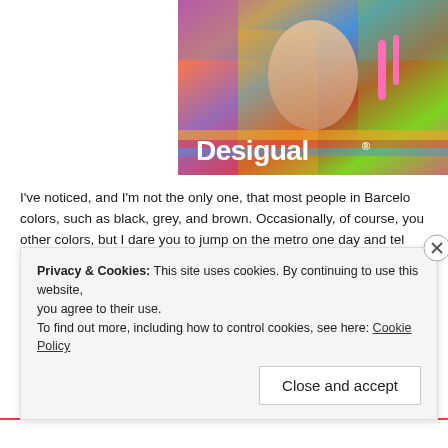[Figure (photo): Desigual brand advertisement photo showing colorful clothing/fabric with the Desigual logo in white text at the bottom left]
I've noticed, and I'm not the only one, that most people in Barcelona wear dark colors, such as black, grey, and brown. Occasionally, of course, you see other colors, but I dare you to jump on the metro one day and tell me I'm wrong. An exception to this, of course, is Desigual. Here and there I will see someone wearing a brightly colored dress that proudly has Desigual written across it, or someone with a quirky bag or jacket with the typical Desigual designs. But even they tend to stick to the rest in black.
Privacy & Cookies: This site uses cookies. By continuing to use this website, you agree to their use.
To find out more, including how to control cookies, see here: Cookie Policy
Close and accept